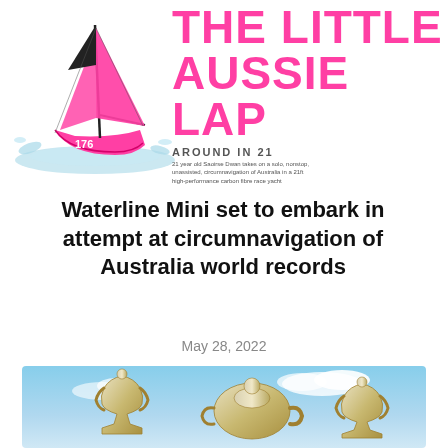[Figure (illustration): Pink racing sailboat (number 176) with black sails, waterline mini yacht, splashing through water. To the right is large pink bold text 'THE LITTLE AUSSIE LAP' with subtitle 'AROUND IN 21' and a small caption about a solo circumnavigation of Australia.]
Waterline Mini set to embark in attempt at circumnavigation of Australia world records
May 28, 2022
[Figure (photo): Photo of silver sailing trophies (cups and teapots) against a blue sky background, with two dark red/maroon tag labels reading 'ADVENTURES' and 'OCEAN RACING', and a dark scroll-up button in the upper right corner.]